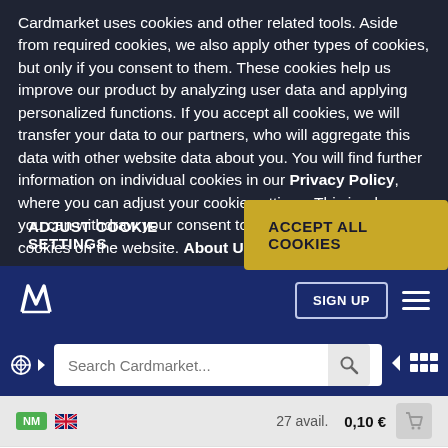Cardmarket uses cookies and other related tools. Aside from required cookies, we also apply other types of cookies, but only if you consent to them. These cookies help us improve our product by analyzing user data and applying personalized functions. If you accept all cookies, we will transfer your data to our partners, who will aggregate this data with other website data about you. You will find further information on individual cookies in our Privacy Policy, where you can adjust your cookie settings. This is where you can withdraw your consent to the various types of cookies on the website. About Us
ADJUST COOKIE SETTINGS
ACCEPT ALL COOKIES
SIGN UP
Search Cardmarket...
27 avail.   0,10 €
RubenQrru
5 avail.   0,10 €